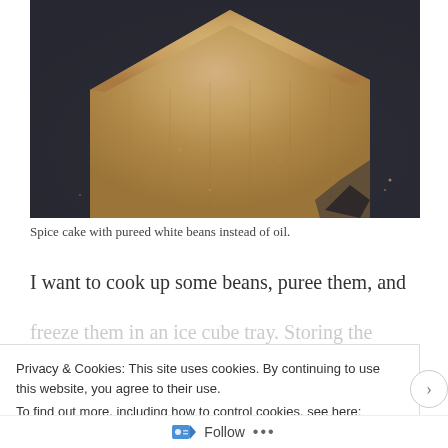[Figure (photo): Close-up photo of a slice of spice cake on a dark slate surface. The cake has a golden-brown crumbly texture with a rough top and sides.]
Spice cake with pureed white beans instead of oil.
I want to cook up some beans, puree them, and freeze them in an ice cube tray. Storing the frozen
Privacy & Cookies: This site uses cookies. By continuing to use this website, you agree to their use.
To find out more, including how to control cookies, see here: Cookie Policy
Close and accept
Follow